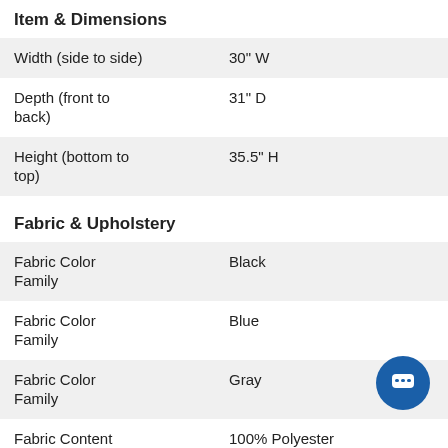Item & Dimensions
| Width (side to side) | 30" W |
| Depth (front to back) | 31" D |
| Height (bottom to top) | 35.5" H |
Fabric & Upholstery
| Fabric Color Family | Black |
| Fabric Color Family | Blue |
| Fabric Color Family | Gray |
| Fabric Content | 100% Polyester |
| Upholstery Classification | Fabric |
| Fabric Pattern | Solid |